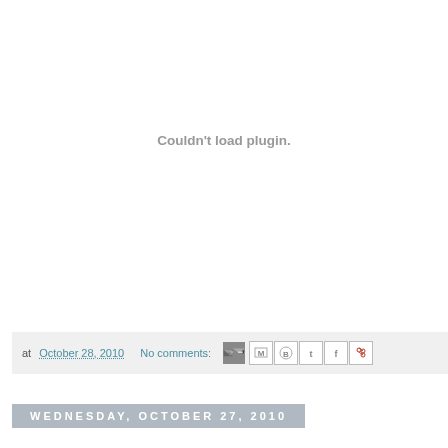Couldn't load plugin.
at October 28, 2010   No comments:
Wednesday, October 27, 2010